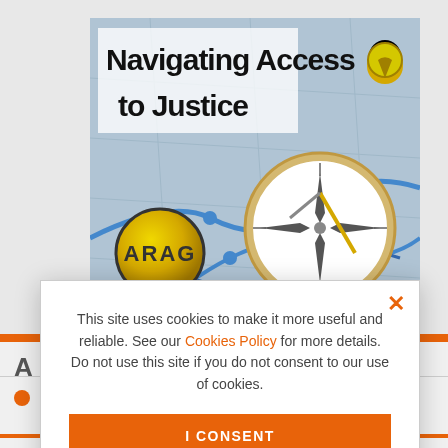[Figure (illustration): ARAG 'Navigating Access to Justice' banner image showing a compass and map with ARAG yellow circle logo]
This site uses cookies to make it more useful and reliable. See our Cookies Policy for more details. Do not use this site if you do not consent to our use of cookies.
I CONSENT
SEE COOKIE POLICY